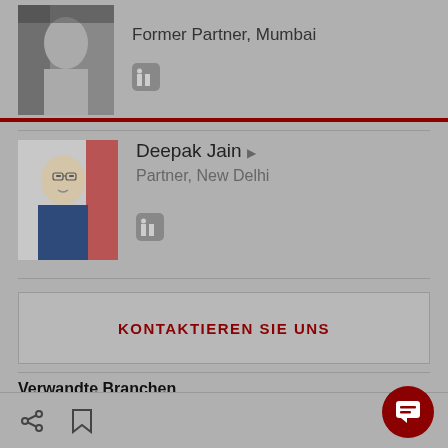Former Partner, Mumbai
Deepak Jain ▶
Partner, New Delhi
KONTAKTIEREN SIE UNS
Verwandte Branchen
Automotive und Mobilität